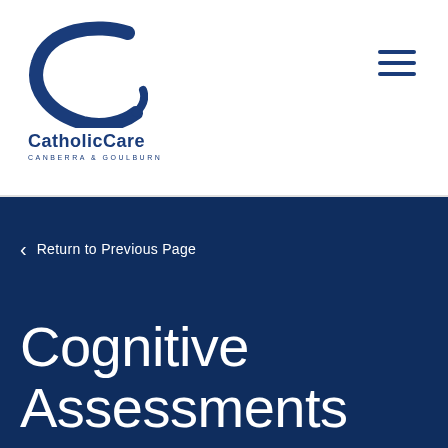[Figure (logo): CatholicCare Canberra & Goulburn logo with blue stylized C swoosh mark, organization name in bold dark blue, and subtitle in small caps]
CatholicCare CANBERRA & GOULBURN
< Return to Previous Page
Cognitive Assessments